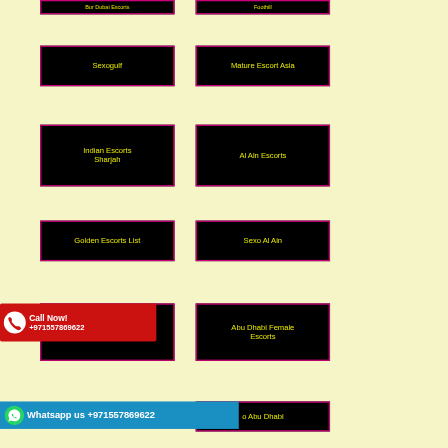[Figure (other): Partially visible black button with yellow text at top left]
[Figure (other): Partially visible black button with yellow text at top right]
Sexogulf
Mature Escort Asia
Indian Escorts Sharjah
Al Aln Escorts
Golden Escorts List
Sexo Al Ain
Abu Dhabi Female Escorts
Call Now! +971557869622
Whatsapp us +971557869622
o Abu Dhabi